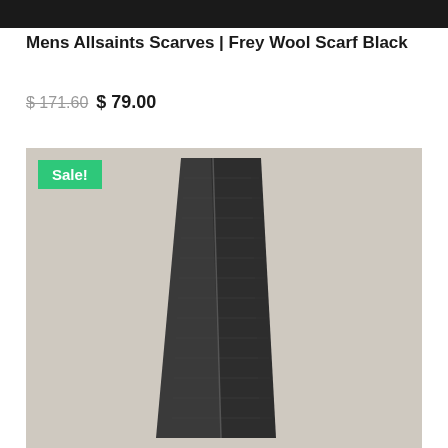[Figure (photo): Top portion of a dark background photo, cropped at the very top of the page]
Mens Allsaints Scarves | Frey Wool Scarf Black
$ 171.60  $ 79.00
[Figure (photo): Product photo of a dark charcoal/black Frey Wool Scarf by Allsaints displayed upright against a light beige/grey background, with a green Sale! badge in the top-left corner]